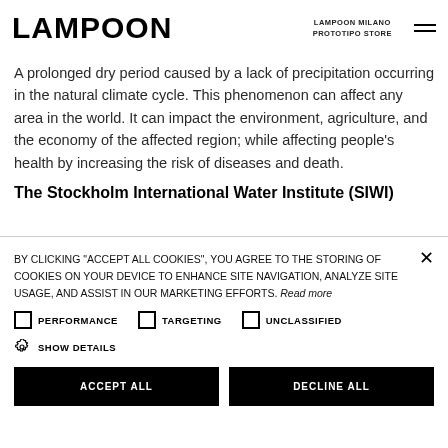LAMPOON | LAMPOON MILANO PROTOTIPO STORE
A prolonged dry period caused by a lack of precipitation occurring in the natural climate cycle. This phenomenon can affect any area in the world. It can impact the environment, agriculture, and the economy of the affected region; while affecting people's health by increasing the risk of diseases and death.
The Stockholm International Water Institute (SIWI)
BY CLICKING "ACCEPT ALL COOKIES", YOU AGREE TO THE STORING OF COOKIES ON YOUR DEVICE TO ENHANCE SITE NAVIGATION, ANALYZE SITE USAGE, AND ASSIST IN OUR MARKETING EFFORTS. Read more
PERFORMANCE
TARGETING
UNCLASSIFIED
SHOW DETAILS
ACCEPT ALL
DECLINE ALL